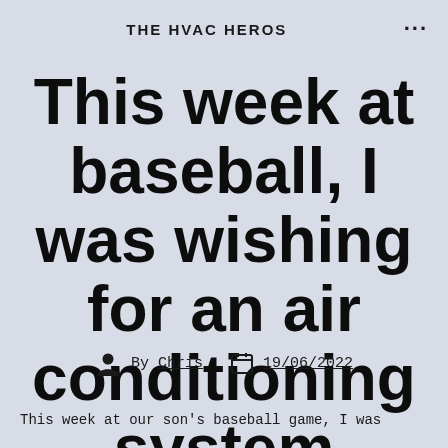THE HVAC HEROS
This week at baseball, I was wishing for an air conditioning system
By Chris  19/06/2022
This week at our son's baseball game, I was